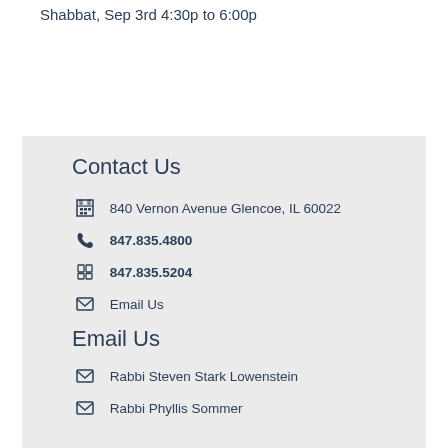Shabbat, Sep 3rd 4:30p to 6:00p
Contact Us
840 Vernon Avenue Glencoe, IL 60022
847.835.4800
847.835.5204
Email Us
Email Us
Rabbi Steven Stark Lowenstein
Rabbi Phyllis Sommer